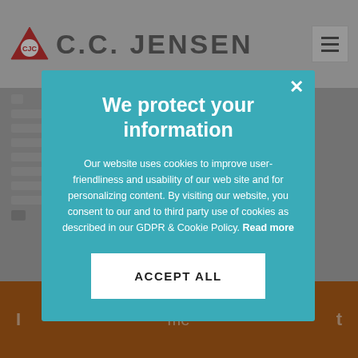[Figure (screenshot): C.C. Jensen website header with logo (red triangle with CJC letters), brand name 'C.C. JENSEN', and hamburger menu icon on grey background]
Background website text content (partially obscured by modal overlay)
Background website footer with partial text (partially obscured)
We protect your information
Our website uses cookies to improve user-friendliness and usability of our web site and for personalizing content. By visiting our website, you consent to our and to third party use of cookies as described in our GDPR & Cookie Policy. Read more
ACCEPT ALL